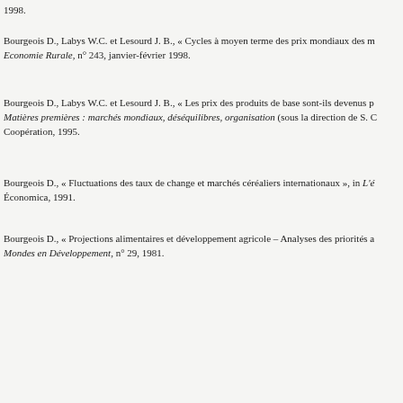1998.
Bourgeois D., Labys W.C. et Lesourd J. B., « Cycles à moyen terme des prix mondiaux des m… Economie Rurale, n° 243, janvier-février 1998.
Bourgeois D., Labys W.C. et Lesourd J. B., « Les prix des produits de base sont-ils devenus p… Matières premières : marchés mondiaux, déséquilibres, organisation (sous la direction de S. C… Coopération, 1995.
Bourgeois D., « Fluctuations des taux de change et marchés céréaliers internationaux », in L'é… Économica, 1991.
Bourgeois D., « Projections alimentaires et développement agricole – Analyses des priorités a… Mondes en Développement, n° 29, 1981.